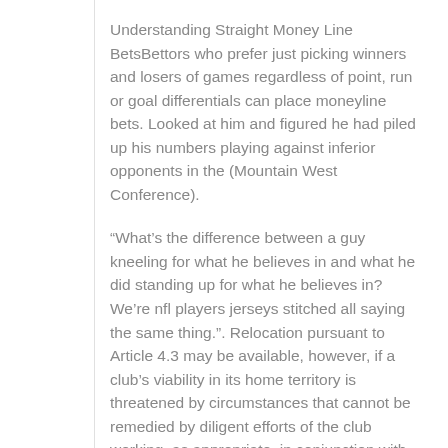Understanding Straight Money Line BetsBettors who prefer just picking winners and losers of games regardless of point, run or goal differentials can place moneyline bets. Looked at him and figured he had piled up his numbers playing against inferior opponents in the (Mountain West Conference).
“What’s the difference between a guy kneeling for what he believes in and what he did standing up for what he believes in? We’re nfl players jerseys stitched all saying the same thing.”. Relocation pursuant to Article 4.3 may be available, however, if a club’s viability in its home territory is threatened by circumstances that cannot be remedied by diligent efforts of the club working, as appropriate, in conjunction with the League Office, or if compelling League interests warrant a franchise relocation.”.
ESPN does, and it has lost 9 million since 2013. Watt after loading a car with relief supplies to people impacted by Hurricane Harvey, in Houston. A director of football operations handles many aspects of a team, including the recruitment and advisement of